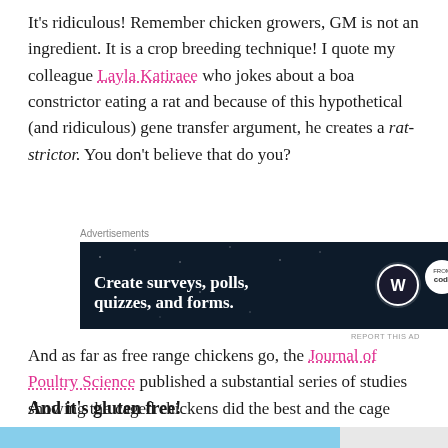It's ridiculous! Remember chicken growers, GM is not an ingredient. It is a crop breeding technique! I quote my colleague Layla Katiraee who jokes about a boa constrictor eating a rat and because of this hypothetical (and ridiculous) gene transfer argument, he creates a rat-strictor. You don't believe that do you?
Advertisements
[Figure (screenshot): Dark navy advertisement banner reading 'Create surveys, polls, quizzes, and forms.' with WordPress and SurveyMonkey logos on the right]
REPORT THIS AD
And as far as free range chickens go, the Journal of Poultry Science published a substantial series of studies showing the caged chickens did the best and the cage free the worst.
And it's gluten free!
[Figure (photo): Partial image strip at the bottom of the page, light blue background]